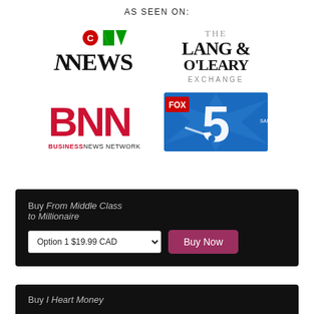AS SEEN ON:
[Figure (logo): CTV News logo]
[Figure (logo): The Lang & O'Leary Exchange logo]
[Figure (logo): BNN Business News Network logo]
[Figure (logo): Fox 5 San Diego logo]
Buy From Middle Class to Millionaire
Option 1 $19.99 CAD
Buy Now
Buy I Heart Money